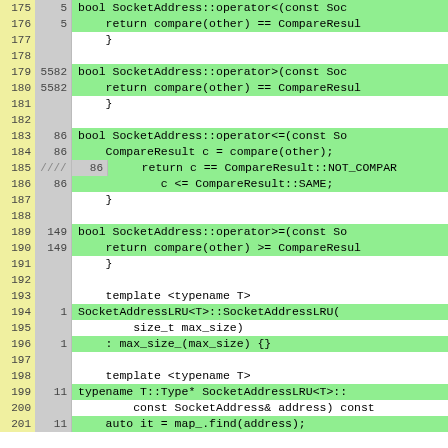[Figure (screenshot): Code coverage viewer showing C++ source lines 175-201 with line numbers, hit counts, and highlighted code for SocketAddress operator methods and SocketAddressLRU template class.]